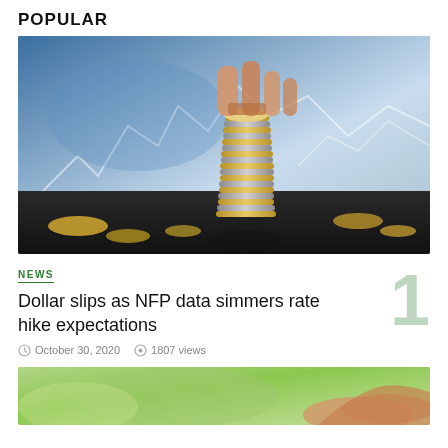POPULAR
[Figure (photo): Stack of coins being held by fingers against a blue financial chart background]
NEWS
Dollar slips as NFP data simmers rate hike expectations
October 30, 2020  1807 views
[Figure (photo): Hands holding something green, partial view at bottom of page]